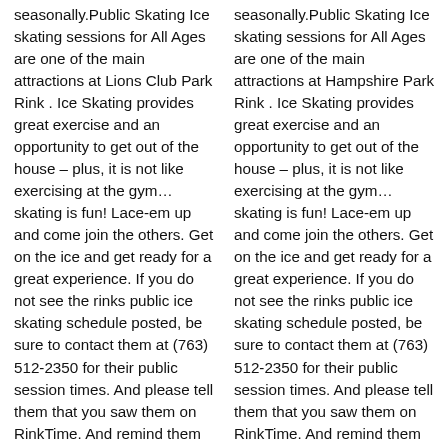seasonally.Public Skating Ice skating sessions for All Ages are one of the main attractions at Lions Club Park Rink . Ice Skating provides great exercise and an opportunity to get out of the house – plus, it is not like exercising at the gym… skating is fun! Lace-em up and come join the others. Get on the ice and get ready for a great experience. If you do not see the rinks public ice skating schedule posted, be sure to contact them at (763) 512-2350 for their public session times. And please tell them that you saw them on RinkTime. And remind them to keep their schedule updated on the site. Pickup Hockey on Ice Looking for a casual game of hockey?Lions Club
seasonally.Public Skating Ice skating sessions for All Ages are one of the main attractions at Hampshire Park Rink . Ice Skating provides great exercise and an opportunity to get out of the house – plus, it is not like exercising at the gym… skating is fun! Lace-em up and come join the others. Get on the ice and get ready for a great experience. If you do not see the rinks public ice skating schedule posted, be sure to contact them at (763) 512-2350 for their public session times. And please tell them that you saw them on RinkTime. And remind them to keep their schedule updated on the site. Pickup Hockey on Ice Looking for a casual game of hockey?Hampshire